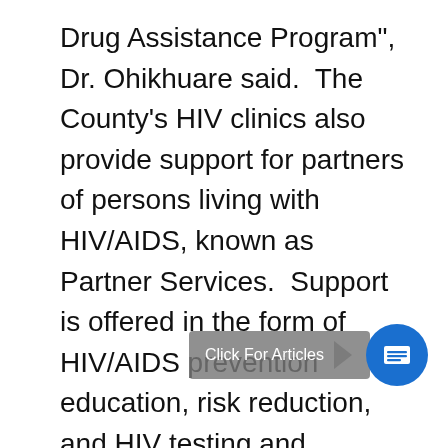Drug Assistance Program", Dr. Ohikhuare said.  The County's HIV clinics also provide support for partners of persons living with HIV/AIDS, known as Partner Services.  Support is offered in the form of HIV/AIDS prevention education, risk reduction, and HIV testing and counseling.
The Department of Public Health collaborates with community-based organizations that provide a variety of support services to persons living with HIV/AIDS.  These support services include, but are not limited to, individual counseling, support groups, housing assistance, food and me[al], transportation, and linkages to additional sources